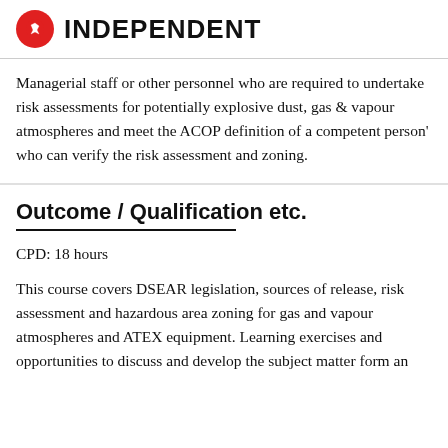INDEPENDENT
Managerial staff or other personnel who are required to undertake risk assessments for potentially explosive dust, gas & vapour atmospheres and meet the ACOP definition of a competent person' who can verify the risk assessment and zoning.
Outcome / Qualification etc.
CPD: 18 hours
This course covers DSEAR legislation, sources of release, risk assessment and hazardous area zoning for gas and vapour atmospheres and ATEX equipment. Learning exercises and opportunities to discuss and develop the subject matter form an